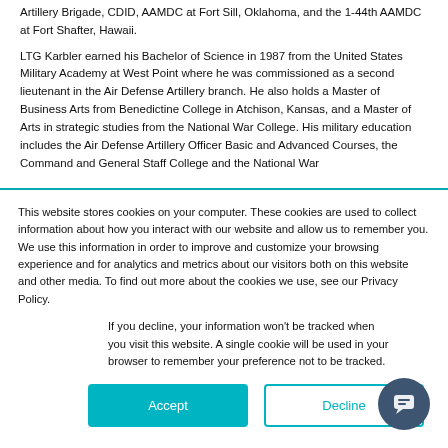Artillery Brigade, CDID, AAMDC at Fort Sill, Oklahoma, and the 1-44th AAMDC at Fort Shafter, Hawaii.
LTG Karbler earned his Bachelor of Science in 1987 from the United States Military Academy at West Point where he was commissioned as a second lieutenant in the Air Defense Artillery branch. He also holds a Master of Business Arts from Benedictine College in Atchison, Kansas, and a Master of Arts in strategic studies from the National War College. His military education includes the Air Defense Artillery Officer Basic and Advanced Courses, the Command and General Staff College and the National War
This website stores cookies on your computer. These cookies are used to collect information about how you interact with our website and allow us to remember you. We use this information in order to improve and customize your browsing experience and for analytics and metrics about our visitors both on this website and other media. To find out more about the cookies we use, see our Privacy Policy.
If you decline, your information won't be tracked when you visit this website. A single cookie will be used in your browser to remember your preference not to be tracked.